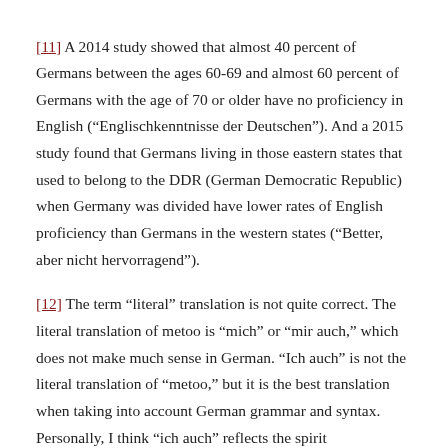[11] A 2014 study showed that almost 40 percent of Germans between the ages 60-69 and almost 60 percent of Germans with the age of 70 or older have no proficiency in English (“Englischkenntnisse der Deutschen”). And a 2015 study found that Germans living in those eastern states that used to belong to the DDR (German Democratic Republic) when Germany was divided have lower rates of English proficiency than Germans in the western states (“Better, aber nicht hervorragend”).
[12] The term “literal” translation is not quite correct. The literal translation of metoo is “mich” or “mir auch,” which does not make much sense in German. “Ich auch” is not the literal translation of “metoo,” but it is the best translation when taking into account German grammar and syntax. Personally, I think “ich auch” reflects the spirit